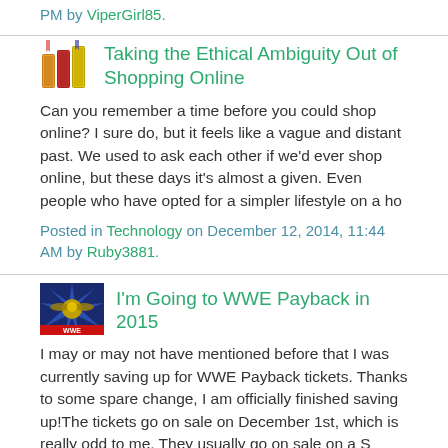PM by ViperGirl85.
Taking the Ethical Ambiguity Out of Shopping Online
Can you remember a time before you could shop online? I sure do, but it feels like a vague and distant past. We used to ask each other if we'd ever shop online, but these days it's almost a given. Even people who have opted for a simpler lifestyle on a ho
Posted in Technology on December 12, 2014, 11:44 AM by Ruby3881.
I'm Going to WWE Payback in 2015
I may or may not have mentioned before that I was currently saving up for WWE Payback tickets. Thanks to some spare change, I am officially finished saving up!The tickets go on sale on December 1st, which is really odd to me. They usually go on sale on a S